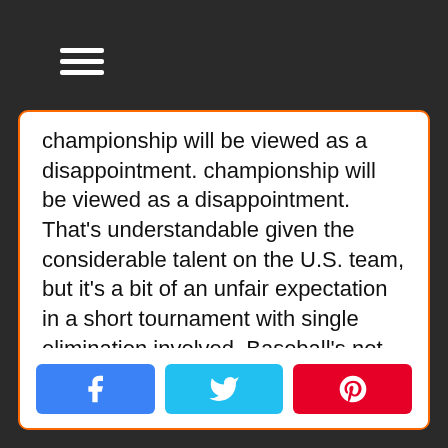championship will be viewed as a disappointment. That's understandable given the considerable talent on the U.S. team, but it's a bit of an unfair expectation in a short tournament with single elimination involved. Baseball's not the kind of sport where the best teams dominate. At the Major League level, winning sixty percent of your games makes you pretty good. So the chances of losing one of the final games remains strong, particularly against top nations like the Dominican or Venezuela. Still, the United States is the odds on favorite to capture the championship in 2009.